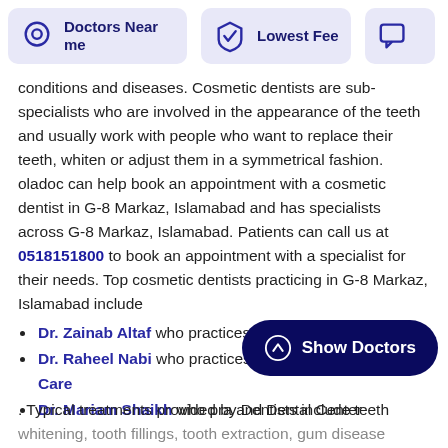[Figure (screenshot): Navigation bar with two filter buttons: 'Doctors Near me' with location pin icon, and 'Lowest Fee' with shield/tag icon, both on light purple backgrounds]
conditions and diseases. Cosmetic dentists are sub-specialists who are involved in the appearance of the teeth and usually work with people who want to replace their teeth, whiten or adjust them in a symmetrical fashion. oladoc can help book an appointment with a cosmetic dentist in G-8 Markaz, Islamabad and has specialists across G-8 Markaz, Islamabad. Patients can call us at 0518151800 to book an appointment with a specialist for their needs. Top cosmetic dentists practicing in G-8 Markaz, Islamabad include
Dr. Zainab Altaf who practices at MM Hospital
Dr. Raheel Nabi who practices at Bite Works Dental Care
Dr. Mariam Shaikh who pra... and Dental Center
[Figure (other): Show Doctors button — dark navy rounded pill button with upward arrow circle icon and text 'Show Doctors']
. Typical treatments provided by Dentists include teeth whitening, tooth fillings, tooth extraction, gum disease